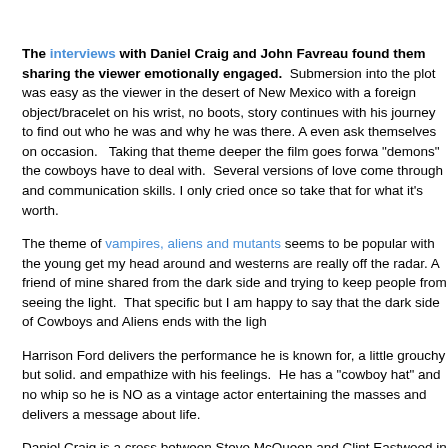The interviews with Daniel Craig and John Favreau found them sharing the viewer emotionally engaged. Submersion into the plot was easy as the viewer in the desert of New Mexico with a foreign object/bracelet on his wrist, no boots, story continues with his journey to find out who he was and why he was there. A even ask themselves on occasion. Taking that theme deeper the film goes forwa "demons" the cowboys have to deal with. Several versions of love come through and communication skills. I only cried once so take that for what it's worth.
The theme of vampires, aliens and mutants seems to be popular with the young get my head around and westerns are really off the radar. A friend of mine shared from the dark side and trying to keep people from seeing the light. That specific but I am happy to say that the dark side of Cowboys and Aliens ends with the ligh
Harrison Ford delivers the performance he is known for, a little grouchy but solid. and empathize with his feelings. He has a "cowboy hat" and no whip so he is NO as a vintage actor entertaining the masses and delivers a message about life.
Daniel Craig is a cross between Steve McQueen and Clint Eastwood in this film. credible as a cowboy when he is such an incredible James Bond. Transitioning t